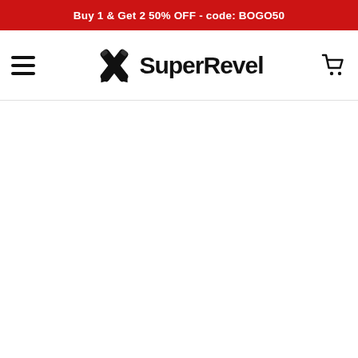Buy 1 & Get 2 50% OFF - code: BOGO50
[Figure (logo): SuperRevel logo with stylized pencil/pen icon and bold 'SuperRevel' text, navigation bar with hamburger menu and cart icon]